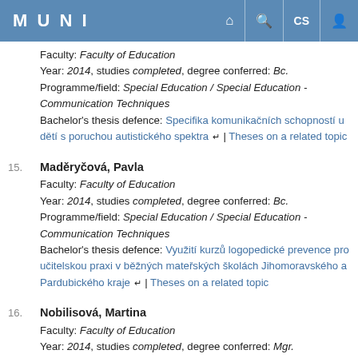MUNI
Faculty: Faculty of Education
Year: 2014, studies completed, degree conferred: Bc.
Programme/field: Special Education / Special Education - Communication Techniques
Bachelor's thesis defence: Specifika komunikačních schopností u dětí s poruchou autistického spektra | Theses on a related topic
15. Maděryčová, Pavla
Faculty: Faculty of Education
Year: 2014, studies completed, degree conferred: Bc.
Programme/field: Special Education / Special Education - Communication Techniques
Bachelor's thesis defence: Využití kurzů logopedické prevence pro učitelskou praxi v běžných mateřských školách Jihomoravského a Pardubického kraje | Theses on a related topic
16. Nobilisová, Martina
Faculty: Faculty of Education
Year: 2014, studies completed, degree conferred: Mgr.
Programme/field: Special Education / Special Education
Master's thesis defence: Rozvoj komunikačních schopností